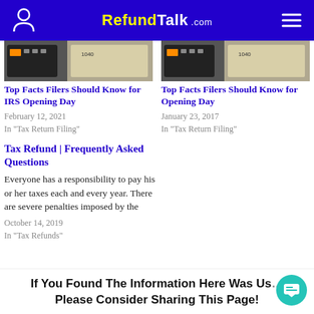RefundTalk.com
[Figure (photo): Tax form 1040 with calculator, left article image]
[Figure (photo): Tax form 1040 with calculator, right article image]
Top Facts Filers Should Know for IRS Opening Day
February 12, 2021
In "Tax Return Filing"
Top Facts Filers Should Know for Opening Day
January 23, 2017
In "Tax Return Filing"
Tax Refund | Frequently Asked Questions
Everyone has a responsibility to pay his or her taxes each and every year. There are severe penalties imposed by the
October 14, 2019
In "Tax Refunds"
If You Found The Information Here Was Us...
Please Consider Sharing This Page!